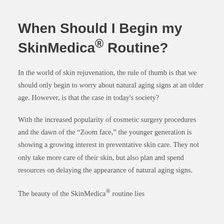When Should I Begin my SkinMedica® Routine?
In the world of skin rejuvenation, the rule of thumb is that we should only begin to worry about natural aging signs at an older age. However, is that the case in today's society?
With the increased popularity of cosmetic surgery procedures and the dawn of the “Zoom face,” the younger generation is showing a growing interest in preventative skin care. They not only take more care of their skin, but also plan and spend resources on delaying the appearance of natural aging signs.
The beauty of the SkinMedica® routine lies